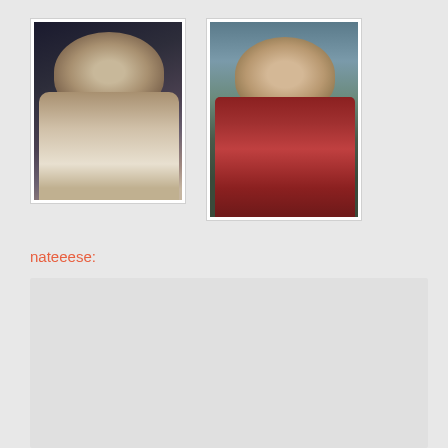[Figure (illustration): Two portrait illustrations side by side. Left: a pale figure with long wavy blonde hair looking downward, wearing a white shirt, against a dark background (Lestat). Right: a figure with long blonde hair wearing a red cloak/cape, against a mountain landscape background (Marius).]
nateeese:
Lestat and Marius from

The Vampire Chronicles